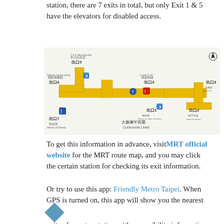For instance, at Chiang Kai-Shek Memorial Hall station, there are 7 exits in total, but only Exit 1 & 5 have the elevators for disabled access.
[Figure (map): Concourse level map of Chiang Kai-Shek Memorial Hall MRT station showing exits 1-7 with accessibility icons, in Chinese and English. Exits 1 and 5 are marked with elevator/accessibility symbols.]
To get this information in advance, visit MRT official website for the MRT route map, and you may click the certain station for checking its exit information.
Or try to use this app: Friendly Metro Taipei. When GPS is turned on, this app will show you the nearest exits of a metro station with accessibility information and pictures that help you quickly reach an accessible exit.